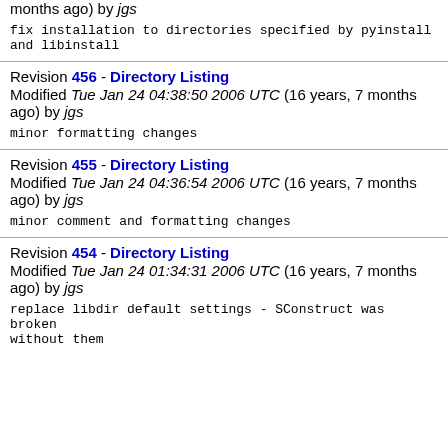months ago) by jgs
fix installation to directories specified by pyinstall and libinstall
Revision 456 - Directory Listing
Modified Tue Jan 24 04:38:50 2006 UTC (16 years, 7 months ago) by jgs
minor formatting changes
Revision 455 - Directory Listing
Modified Tue Jan 24 04:36:54 2006 UTC (16 years, 7 months ago) by jgs
minor comment and formatting changes
Revision 454 - Directory Listing
Modified Tue Jan 24 01:34:31 2006 UTC (16 years, 7 months ago) by jgs
replace libdir default settings - SConstruct was broken without them